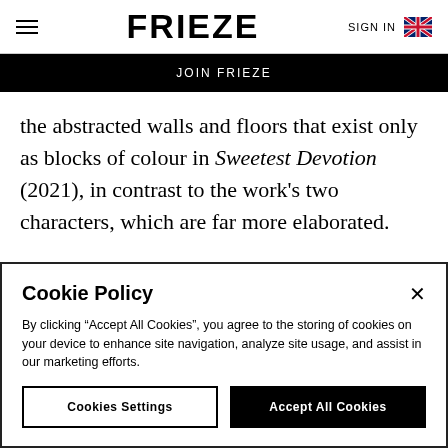FRIEZE | SIGN IN
JOIN FRIEZE
the abstracted walls and floors that exist only as blocks of colour in Sweetest Devotion (2021), in contrast to the work’s two characters, which are far more elaborated.
Cookie Policy
By clicking “Accept All Cookies”, you agree to the storing of cookies on your device to enhance site navigation, analyze site usage, and assist in our marketing efforts.
Cookies Settings | Accept All Cookies